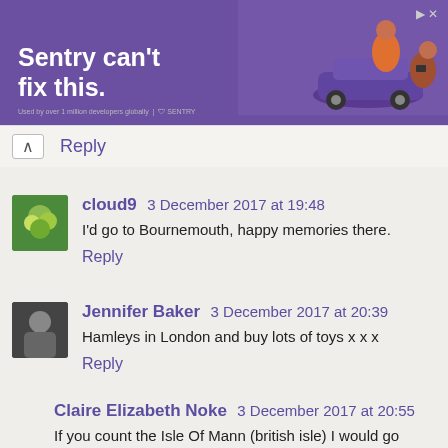[Figure (screenshot): Advertisement banner for Sentry with purple background. Text reads 'Sentry can't fix this.' with an illustration of people with cars on the right side. Small icons at top right and Sentry logo/tagline at bottom left.]
Reply
cloud9  3 December 2017 at 19:48
I'd go to Bournemouth, happy memories there.
Reply
Jennifer Baker  3 December 2017 at 20:39
Hamleys in London and buy lots of toys x x x
Reply
Claire Elizabeth Noke  3 December 2017 at 20:55
If you count the Isle Of Mann (british isle) I would go there